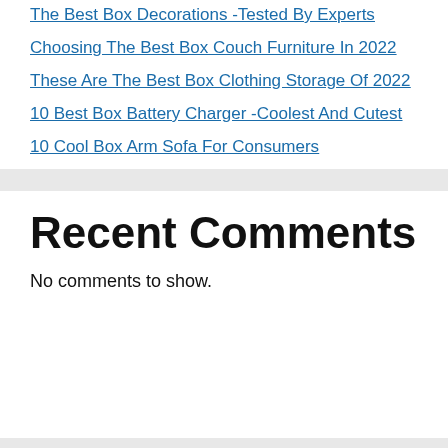The Best Box Decorations -Tested By Experts
Choosing The Best Box Couch Furniture In 2022
These Are The Best Box Clothing Storage Of 2022
10 Best Box Battery Charger -Coolest And Cutest
10 Cool Box Arm Sofa For Consumers
Recent Comments
No comments to show.